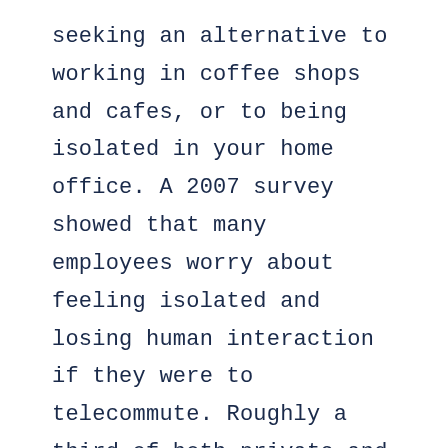seeking an alternative to working in coffee shops and cafes, or to being isolated in your home office. A 2007 survey showed that many employees worry about feeling isolated and losing human interaction if they were to telecommute. Roughly a third of both private and public-sector workers also reported that they didn't want to stay at home during work. Now, co-working places exist worldwide, with over 700 locations in the United States alone. And Charleston has hopped on board in a big way! Chris Schultz created a